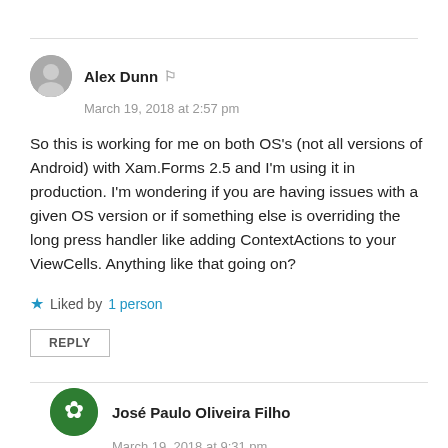Alex Dunn
March 19, 2018 at 2:57 pm
So this is working for me on both OS's (not all versions of Android) with Xam.Forms 2.5 and I'm using it in production. I'm wondering if you are having issues with a given OS version or if something else is overriding the long press handler like adding ContextActions to your ViewCells. Anything like that going on?
Liked by 1 person
REPLY
José Paulo Oliveira Filho
March 19, 2018 at 9:31 pm